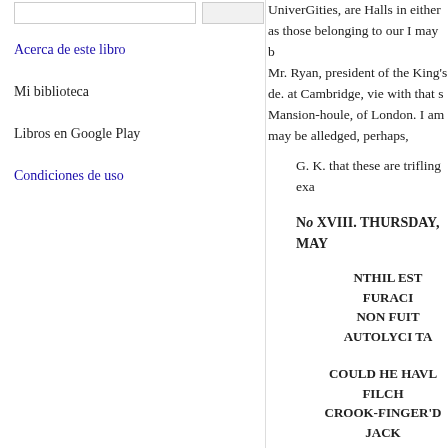[search bar and button]
Acerca de este libro
Mi biblioteca
Libros en Google Play
Condiciones de uso
UniverGities, are Halls in either as those belonging to our I may b Mr. Ryan, president of the King's de. at Cambridge, vie with that s Mansion-houle, of London. I am may be alledged, perhaps,
G. K. that these are trifling exa
No XVIII. THURSDAY, MAY
NTHIL EST FURACI NON FUIT AUTOLYCI TA
COULD HE HAVL FILCH CROOK-FINGER'D JACK
A
N information was the other d laid before a magistrate by a Fel- merely as a farthing, and look up Emperor as no The prosecutor d